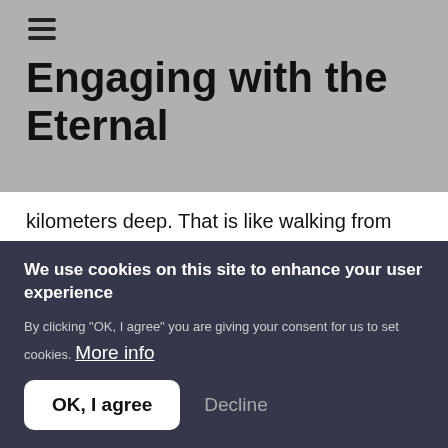≡
Engaging with the Eternal
kilometers deep. That is like walking from this mango tree to the beach down the trail. Most likely, our volcanoes and mountains were made during that flood." Again, I was in awe of the wisdom and knowledge of the old man.
We use cookies on this site to enhance your user experience
By clicking "OK, I agree" you are giving your consent for us to set cookies. More info
OK, I agree  Decline